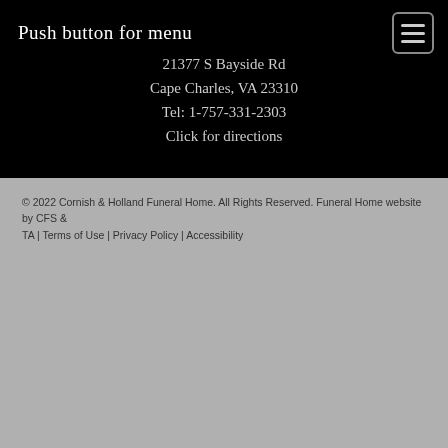Push button for menu
21377 S Bayside Rd
Cape Charles, VA 23310
Tel: 1-757-331-2303
Click for directions
© 2022 Cornish & Holland Funeral Home. All Rights Reserved. Funeral Home website by CFS & TA | Terms of Use | Privacy Policy | Accessibility